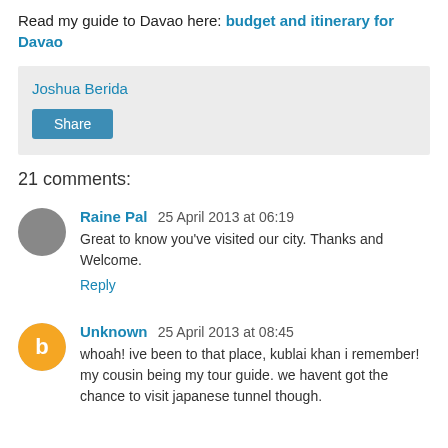Read my guide to Davao here: budget and itinerary for Davao
Joshua Berida
Share
21 comments:
Raine Pal  25 April 2013 at 06:19
Great to know you've visited our city. Thanks and Welcome.
Reply
Unknown  25 April 2013 at 08:45
whoah! ive been to that place, kublai khan i remember! my cousin being my tour guide. we havent got the chance to visit japanese tunnel though.